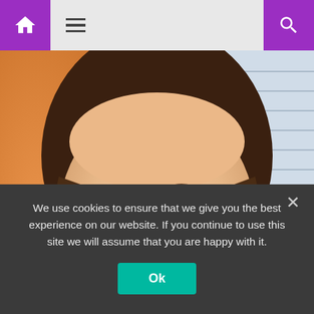Navigation bar with home icon, hamburger menu, and search icon
[Figure (photo): Close-up photo of a young woman with brown highlighted hair, smiling, with an orange background on the left and window blinds on the right]
I'm a body language expert – Kim Kardashian is 'dead behind the eyes' & doesn't mean what she's saying in viral clip | The Sun
We use cookies to ensure that we give you the best experience on our website. If you continue to use this site we will assume that you are happy with it.